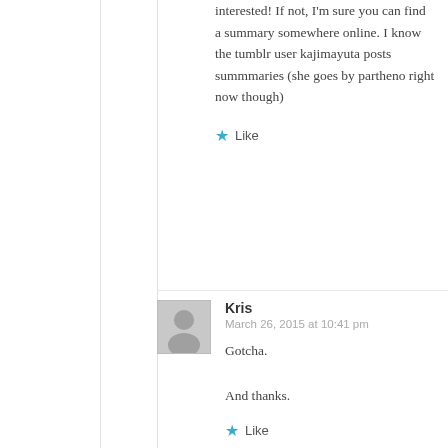interested! If not, I'm sure you can find a summary somewhere online. I know the tumblr user kajimayuta posts summmaries (she goes by partheno right now though)
★ Like
Kris
March 26, 2015 at 10:41 pm
Gotcha.

And thanks.
★ Like